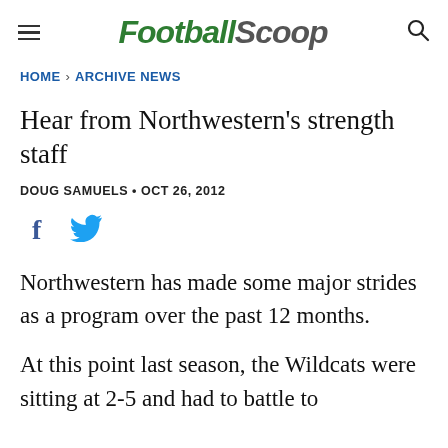FootballScoop
HOME > ARCHIVE NEWS
Hear from Northwestern's strength staff
DOUG SAMUELS • OCT 26, 2012
[Figure (infographic): Social share icons: Facebook (f) and Twitter (bird)]
Northwestern has made some major strides as a program over the past 12 months.
At this point last season, the Wildcats were sitting at 2-5 and had to battle to